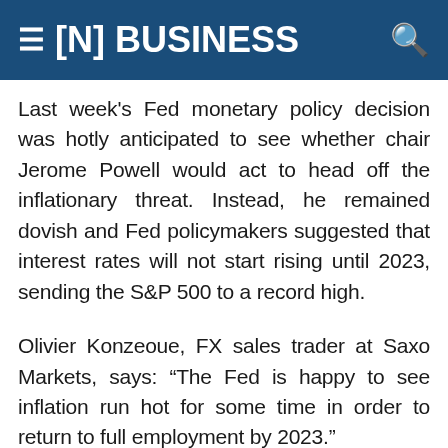[N] BUSINESS
Last week's Fed monetary policy decision was hotly anticipated to see whether chair Jerome Powell would act to head off the inflationary threat. Instead, he remained dovish and Fed policymakers suggested that interest rates will not start rising until 2023, sending the S&P 500 to a record high.
Olivier Konzeoue, FX sales trader at Saxo Markets, says: “The Fed is happy to see inflation run hot for some time in order to return to full employment by 2023.”